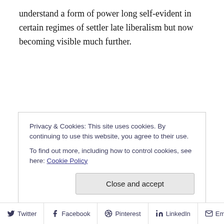understand a form of power long self-evident in certain regimes of settler late liberalism but now becoming visible much further.
Privacy & Cookies: This site uses cookies. By continuing to use this website, you agree to their use.
To find out more, including how to control cookies, see here: Cookie Policy
Twitter  Facebook  Pinterest  LinkedIn  Email